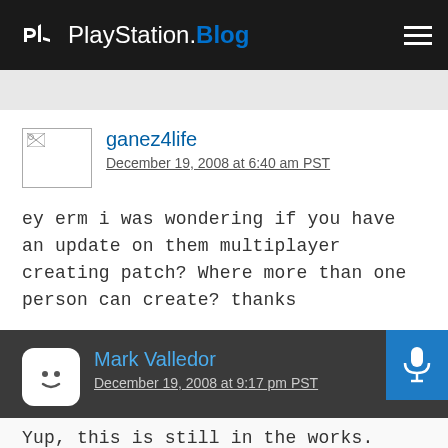PlayStation.Blog
[Figure (screenshot): User avatar placeholder image (broken image icon) for ganez4life comment]
ganez4life
December 19, 2008 at 6:40 am PST
ey erm i was wondering if you have an update on them multiplayer creating patch? Where more than one person can create? thanks
[Figure (illustration): Smiley face robot avatar icon for Mark Valledor in white rounded square on dark background]
Mark Valledor
December 19, 2008 at 9:17 pm PST
Yup, this is still in the works. Stay tuned for more